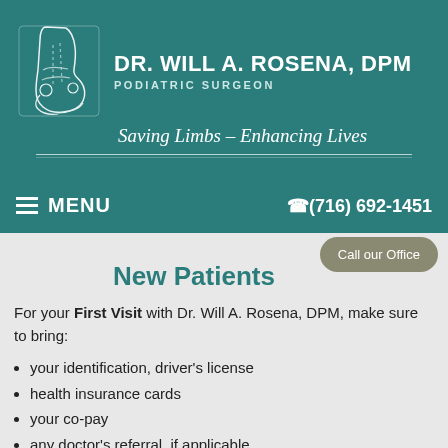[Figure (logo): Dr. Will A. Rosena DPM medical practice logo with foot/ankle illustration, name, title 'Podiatric Surgeon', and tagline 'Saving Limbs – Enhancing Lives']
≡ MENU   ☎(716) 692-1451
New Patients
For your First Visit with Dr. Will A. Rosena, DPM, make sure to bring:
your identification, driver's license
health insurance cards
your co-pay
any doctor's referral, if applicable
completed forms and consents (fill out the NEW PATIENT